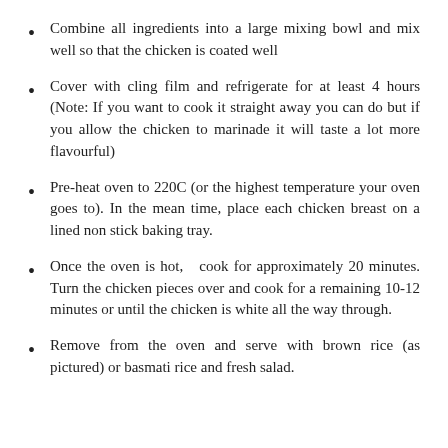Combine all ingredients into a large mixing bowl and mix well so that the chicken is coated well
Cover with cling film and refrigerate for at least 4 hours (Note: If you want to cook it straight away you can do but if you allow the chicken to marinade it will taste a lot more flavourful)
Pre-heat oven to 220C (or the highest temperature your oven goes to). In the mean time, place each chicken breast on a lined non stick baking tray.
Once the oven is hot,  cook for approximately 20 minutes. Turn the chicken pieces over and cook for a remaining 10-12 minutes or until the chicken is white all the way through.
Remove from the oven and serve with brown rice (as pictured) or basmati rice and fresh salad.